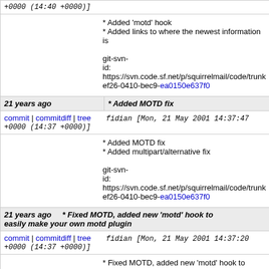| (continued from above) | +0000 (14:40 +0000)] |
| * Added 'motd' hook
* Added links to where the newest information is

git-svn-id: https://svn.code.sf.net/p/squirrelmail/code/trunk
ef26-0410-bec9-ea0150e637f0 |
| 21 years ago | * Added MOTD fix |
| commit | commitdiff | tree
fidian [Mon, 21 May 2001 14:37:47 +0000 (14:37 +0000)] |
| * Added MOTD fix
* Added multipart/alternative fix

git-svn-id: https://svn.code.sf.net/p/squirrelmail/code/trunk
ef26-0410-bec9-ea0150e637f0 |
| 21 years ago | * Fixed MOTD, added new 'motd' hook to easily make your own motd plugin |
| commit | commitdiff | tree
fidian [Mon, 21 May 2001 14:37:20 +0000 (14:37 +0000)] |
| * Fixed MOTD, added new 'motd' hook to easily m |